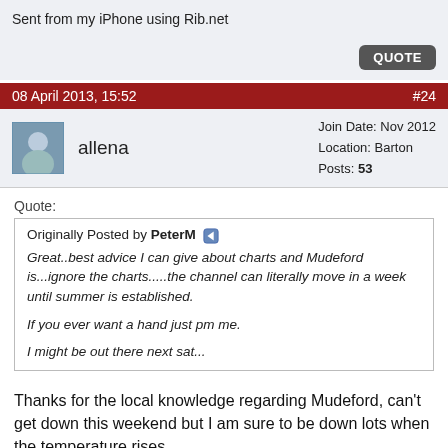Sent from my iPhone using Rib.net
08 April 2013, 15:52  #24
allena  Join Date: Nov 2012  Location: Barton  Posts: 53
Quote:
Originally Posted by PeterM
Great..best advice I can give about charts and Mudeford is...ignore the charts.....the channel can literally move in a week until summer is established.

If you ever want a hand just pm me.

I might be out there next sat...
Thanks for the local knowledge regarding Mudeford, can't get down this weekend but I am sure to be down lots when the temperature rises.